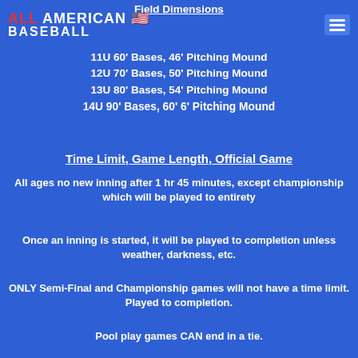Field Dimensions
11U 60' Bases, 46' Pitching Mound
12U 70' Bases, 50' Pitching Mound
13U 80' Bases, 54' Pitching Mound
14U 90' Bases, 60' 6' Pitching Mound
Time Limit, Game Length, Official Game
All ages no new inning after 1 hr 45 minutes, except championship which will be played to entirety
Once an inning is started, it will be played to completion unless weather, darkness, etc.
ONLY Semi-Final and Championship games will not have a time limit. Played to completion.
Pool play games CAN end in a tie.
On championship day if the game is tied at either time limit or game completion, extra inning will go to California Rules to complete. Each team will the start the inning with their last batted out on 2nd base and the batters will have a 0-0 count. Each inning